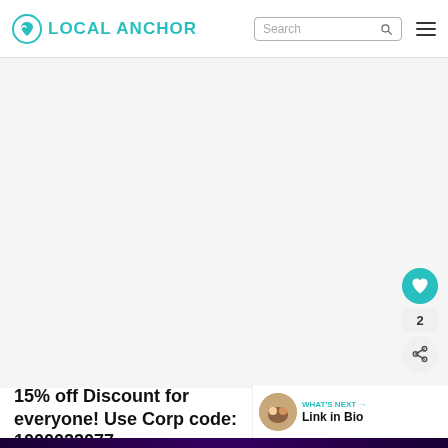LOCAL ANCHOR | Search
[Figure (photo): Large image area (white/light background placeholder) with heart button, count badge '2', and share button on the right side]
15% off Discount for everyone! Use Corp code: 1000022077
[Figure (infographic): What's Next panel with thumbnail image and 'Link in Bio' text]
[Figure (screenshot): Ad banner at bottom: Harley Quinn / HBO Max ad with 'STREAM THE FAN FAVOR... SIGN UP NOW PLANS START AT $9/MONTH']